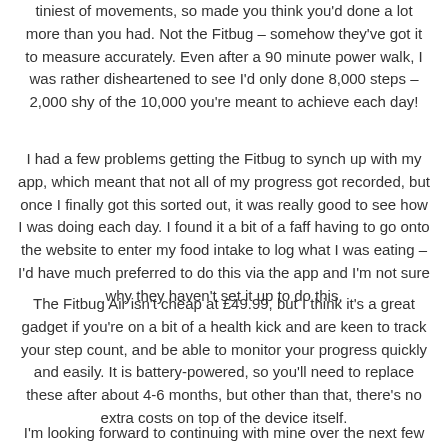tiniest of movements, so made you think you'd done a lot more than you had. Not the Fitbug – somehow they've got it to measure accurately. Even after a 90 minute power walk, I was rather disheartened to see I'd only done 8,000 steps – 2,000 shy of the 10,000 you're meant to achieve each day!
I had a few problems getting the Fitbug to synch up with my app, which meant that not all of my progress got recorded, but once I finally got this sorted out, it was really good to see how I was doing each day. I found it a bit of a faff having to go onto the website to enter my food intake to log what I was eating – I'd have much preferred to do this via the app and I'm not sure why they haven't set it up to do this.
The Fitbug Air isn't cheap at £49.99, but I think it's a great gadget if you're on a bit of a health kick and are keen to track your step count, and be able to monitor your progress quickly and easily. It is battery-powered, so you'll need to replace these after about 4-6 months, but other than that, there's no extra costs on top of the device itself.
I'm looking forward to continuing with mine over the next few